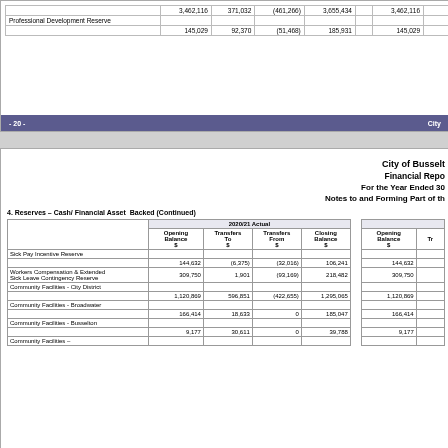|  | Opening Balance $ | Transfers To $ | Transfers From $ | Closing Balance $ | Opening Balance $ |
| --- | --- | --- | --- | --- | --- |
| Professional Development Reserve |  |  |  |  |  |
|  | 145,029 | 92,370 | (51,468) | 185,931 | 145,029 |
- 20 -    City
City of Busselt
Financial Repo
For the Year Ended 30
Notes to and Forming Part of th
4. Reserves – Cash/ Financial Asset Backed (Continued)
|  | 2020/21 Actual |  |  |  |  | Opening Balance $ | Tr |
| --- | --- | --- | --- | --- | --- | --- | --- |
|  | Opening Balance $ | Transfers To $ | Transfers From $ | Closing Balance $ | Opening Balance $ |  |
| Sick Pay Incentive Reserve |  |  |  |  |  |  |
|  | 144,632 | (6,375) | (32,016) | 106,241 | 144,632 |  |
| Workers Compensation & Extended Sick Leave Contingency Reserve | 309,750 | 1,901 | (93,169) | 218,482 | 309,750 |  |
| Community Facilities - City District |  |  |  |  |  |  |
|  | 1,120,869 | 596,851 | (422,655) | 1,295,065 | 1,120,869 |  |
| Community Facilities - Broadwater |  |  |  |  |  |  |
|  | 166,414 | 18,633 | 0 | 185,047 | 166,414 |  |
| Community Facilities - Busselton |  |  |  |  |  |  |
|  | 9,177 | 30,611 | 0 | 39,788 | 9,177 |  |
| Community Facilities – |  |  |  |  |  |  |